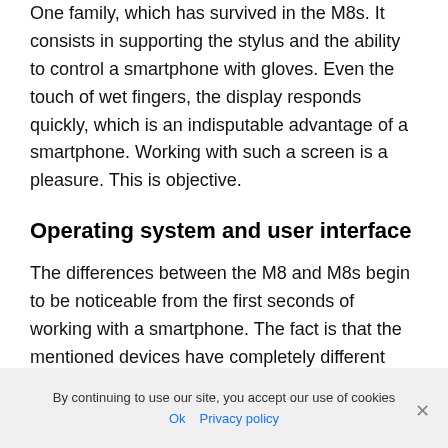One family, which has survived in the M8s. It consists in supporting the stylus and the ability to control a smartphone with gloves. Even the touch of wet fingers, the display responds quickly, which is an indisputable advantage of a smartphone. Working with such a screen is a pleasure. This is objective.
Operating system and user interface
The differences between the M8 and M8s begin to be noticeable from the first seconds of working with a smartphone. The fact is that the mentioned devices have completely different software. HTC One M8s uses the current version of the popular mobile operating
By continuing to use our site, you accept our use of cookies
Ok  Privacy policy